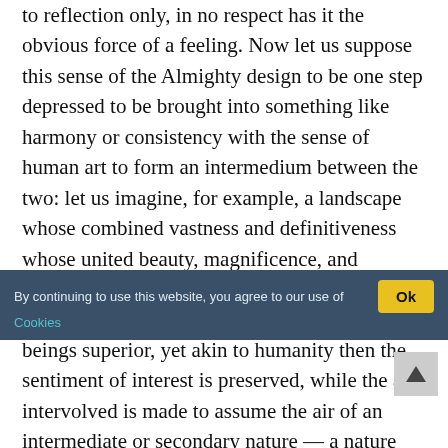to reflection only, in no respect has it the obvious force of a feeling. Now let us suppose this sense of the Almighty design to be one step depressed to be brought into something like harmony or consistency with the sense of human art to form an intermedium between the two: let us imagine, for example, a landscape whose combined vastness and definitiveness whose united beauty, magnificence, and strangeness, shall convey the idea of care, or culture, or superintendence, on the part of beings superior, yet akin to humanity then the sentiment of interest is preserved, while the art intervolved is made to assume the air of an intermediate or secondary nature — a nature which is not God, nor an emanation from God, but which still is nature in
By continuing to use this website, you agree to our use of Cookies